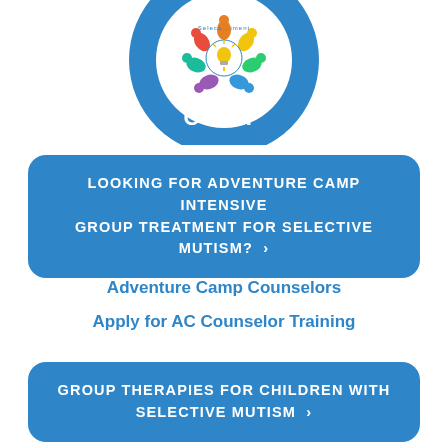[Figure (logo): Adventure Camp logo — blue circular badge with colorful pinwheel figures and 'CAMP' text, partially cropped at top]
LOOKING FOR ADVENTURE CAMP INTENSIVE GROUP TREATMENT FOR SELECTIVE MUTISM? >
Adventure Camp Counselors
Apply for AC Counselor Training
GROUP THERAPIES FOR CHILDREN WITH SELECTIVE MUTISM >